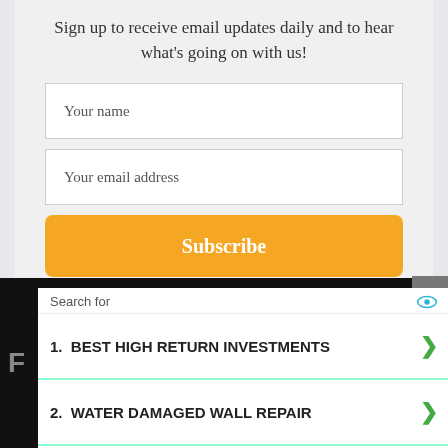Sign up to receive email updates daily and to hear what's going on with us!
Your name
Your email address
Subscribe
[Figure (screenshot): Close button X in grey square]
Search for
1.  BEST HIGH RETURN INVESTMENTS
2.  WATER DAMAGED WALL REPAIR
Ad | Business Focus